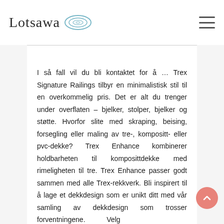Lotsawa
I så fall vil du bli kontaktet for å … Trex Signature Railings tilbyr en minimalistisk stil til en overkommelig pris. Det er alt du trenger under overflaten – bjelker, stolper, bjelker og støtte. Hvorfor slite med skraping, beising, forsegling eller maling av tre-, kompositt- eller pvc-dekke? Trex Enhance kombinerer holdbarheten til komposittdekke med rimeligheten til tre. Trex Enhance passer godt sammen med alle Trex-rekkverk. Bli inspirert til å lage et dekkdesign som er unikt ditt med vår samling av dekkdesign som trosser forventningene. Velg signaturaluminiumstolper som inkluderer